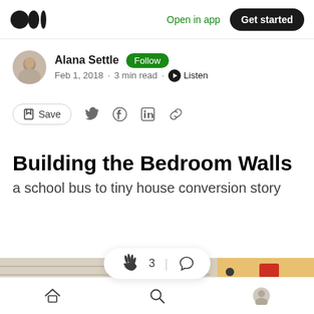Medium logo | Open in app | Get started
Alana Settle · Follow · Feb 1, 2018 · 3 min read · Listen
Save (bookmark icon) | Twitter | Facebook | LinkedIn | Link
Building the Bedroom Walls
a school bus to tiny house conversion story
[Figure (photo): Partial view of a school bus exterior with yellow body and red tail lights visible]
Home | Search | Profile (bottom navigation icons)